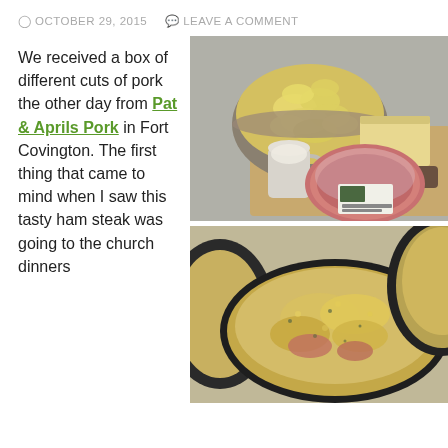OCTOBER 29, 2015   LEAVE A COMMENT
We received a box of different cuts of pork the other day from Pat & Aprils Pork in Fort Covington. The first thing that came to mind when I saw this tasty ham steak was going to the church dinners
[Figure (photo): Ingredients laid out on a counter: a large metal bowl filled with sliced potatoes, a pitcher of cream/milk, cheese block, ham steak in packaging with label, and a small container]
[Figure (photo): Two cast iron skillets containing a baked ham and potato gratin dish with breadcrumb topping, golden brown, with visible ham pieces]